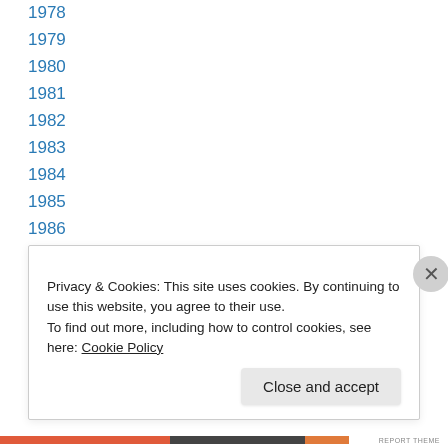1978
1979
1980
1981
1982
1983
1984
1985
1986
1987
1988
1989
1990
Privacy & Cookies: This site uses cookies. By continuing to use this website, you agree to their use.
To find out more, including how to control cookies, see here: Cookie Policy
Close and accept